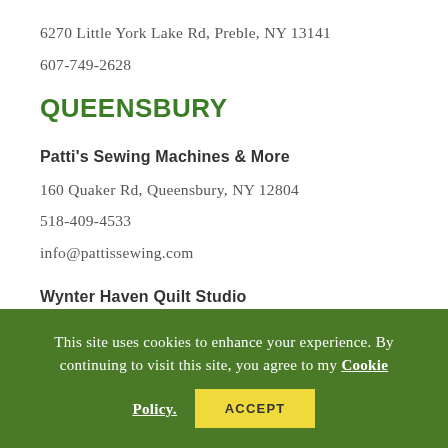6270 Little York Lake Rd, Preble, NY 13141
607-749-2628
QUEENSBURY
Patti's Sewing Machines & More
160 Quaker Rd, Queensbury, NY 12804
518-409-4533
info@pattissewing.com
Wynter Haven Quilt Studio
4 South Western Avenue, Queensbury, NY
This site uses cookies to enhance your experience. By continuing to visit this site, you agree to my Cookie Policy.
ACCEPT